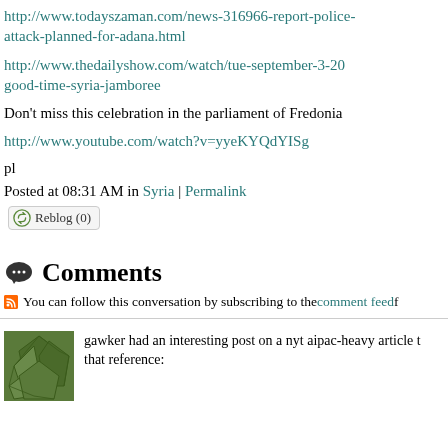http://www.todayszaman.com/news-316966-report-police-attack-planned-for-adana.html
http://www.thedailyshow.com/watch/tue-september-3-20.../good-time-syria-jamboree
Don't miss this celebration in the parliament of Fredonia
http://www.youtube.com/watch?v=yyeKYQdYISg
pl
Posted at 08:31 AM in Syria | Permalink
Reblog (0)
Comments
You can follow this conversation by subscribing to the comment feed f...
gawker had an interesting post on a nyt aipac-heavy article t... that reference: